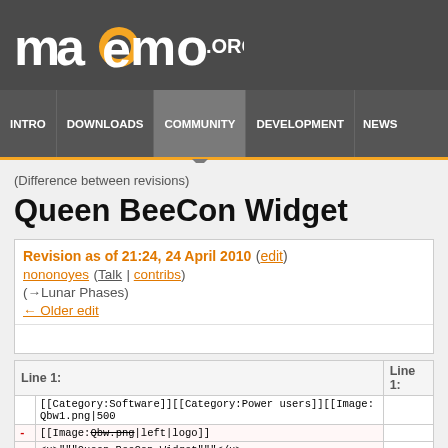maemo.org
INTRO | DOWNLOADS | COMMUNITY | DEVELOPMENT | NEWS
(Difference between revisions)
Queen BeeCon Widget
Revision as of 21:24, 24 April 2010 (edit)
nononoyes (Talk | contribs)
(→Lunar Phases)
← Older edit
|  | Line 1: |  |
| --- | --- | --- |
|  | [[Category:Software]][[Category:Power users]][[Image:Qbw1.png|500 |  |
| - | [[Image:Qbw.png|left|logo]] |  |
| - | <u>"""Queen BeeCon Widget"""</u> |  |
| - | ("""[http://talk.maemo.org/showthread.php?t=45388 See Talk Thread] |  |